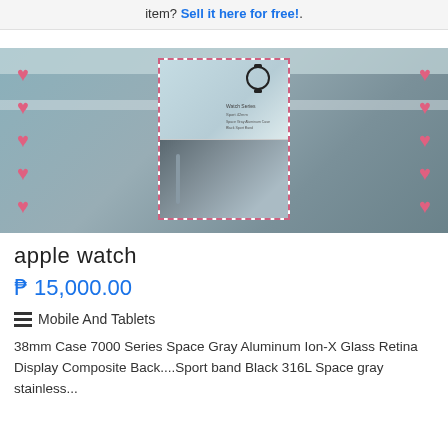item? Sell it here for free!.
[Figure (photo): Product listing image for Apple Watch showing box packaging with pink heart decorations on sides and a zoomed thumbnail overlay showing the Apple Watch box front and a dark interior compartment]
apple watch
₱ 15,000.00
Mobile And Tablets
38mm Case 7000 Series Space Gray Aluminum Ion-X Glass Retina Display Composite Back....Sport band Black 316L Space gray stainless...